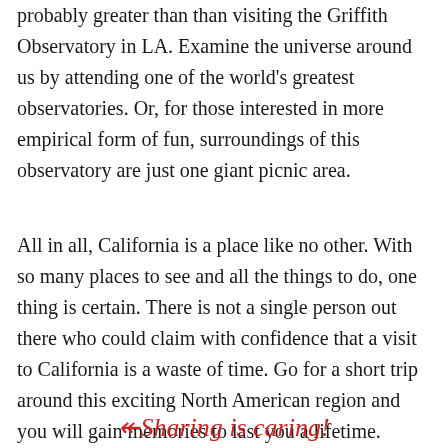probably greater than than visiting the Griffith Observatory in LA. Examine the universe around us by attending one of the world's greatest observatories. Or, for those interested in more empirical form of fun, surroundings of this observatory are just one giant picnic area.
All in all, California is a place like no other. With so many places to see and all the things to do, one thing is certain. There is not a single person out there who could claim with confidence that a visit to California is a waste of time. Go for a short trip around this exciting North American region and you will gain memories to last you a lifetime.
Sharing is caring!